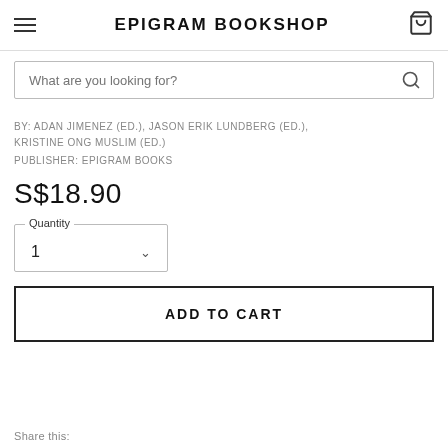EPIGRAM BOOKSHOP
What are you looking for?
BY: ADAN JIMENEZ (ED.), JASON ERIK LUNDBERG (ED.), KRISTINE ONG MUSLIM (ED.)
PUBLISHER: EPIGRAM BOOKS
S$18.90
Quantity
1
ADD TO CART
Share this: